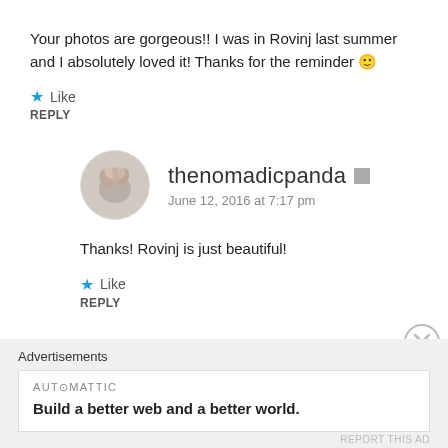Your photos are gorgeous!! I was in Rovinj last summer and I absolutely loved it! Thanks for the reminder 🙂
★ Like
REPLY
[Figure (photo): Circular avatar photo of thenomadicpanda with floral/plant imagery]
thenomadicpanda
June 12, 2016 at 7:17 pm
Thanks! Rovinj is just beautiful!
★ Like
REPLY
Advertisements
AUTOMATTIC
Build a better web and a better world.